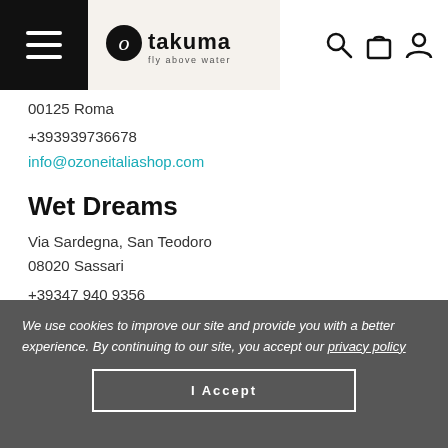takuma fly above water — navigation header with hamburger menu, logo, search, bag, and user icons
00125 Roma
+393939736678
info@ozoneitaliashop.com
Wet Dreams
Via Sardegna, San Teodoro
08020 Sassari
+39347 940 9356
info@wetdreams.it
We use cookies to improve our site and provide you with a better experience. By continuing to our site, you accept our privacy policy
I Accept